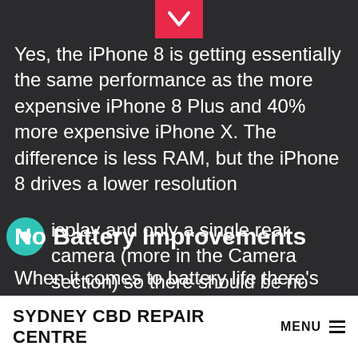[Figure (other): Pink/red chevron down arrow button at top center of dark background]
Yes, the iPhone 8 is getting essentially the same performance as the more expensive iPhone 8 Plus and 40% more expensive iPhone X. The difference is less RAM, but the iPhone 8 drives a lower resolution display and only a single rear camera (more in the Camera section) so there should be no tangible difference in real world use.
No Battery Improvements
When it comes to battery life there's good
SYDNEY CBD REPAIR CENTRE MENU ≡